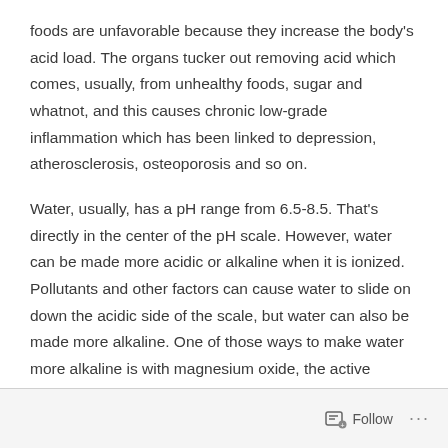foods are unfavorable because they increase the body's acid load. The organs tucker out removing acid which comes, usually, from unhealthy foods, sugar and whatnot, and this causes chronic low-grade inflammation which has been linked to depression, atherosclerosis, osteoporosis and so on.
Water, usually, has a pH range from 6.5-8.5. That's directly in the center of the pH scale. However, water can be made more acidic or alkaline when it is ionized. Pollutants and other factors can cause water to slide on down the acidic side of the scale, but water can also be made more alkaline. One of those ways to make water more alkaline is with magnesium oxide, the active ingredient in Prills.
Follow ···